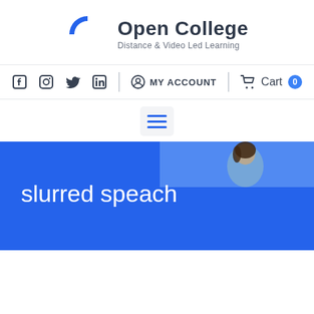[Figure (logo): Open College logo with circular icon in blue and grey, text 'Open College' and tagline 'Distance & Video Led Learning']
MY ACCOUNT  Cart 0
[Figure (screenshot): Hamburger menu button icon with three blue horizontal lines on light grey background]
[Figure (photo): Blue banner with partial photo of a person (woman) on the right side, with lighter blue overlay area]
slurred speach